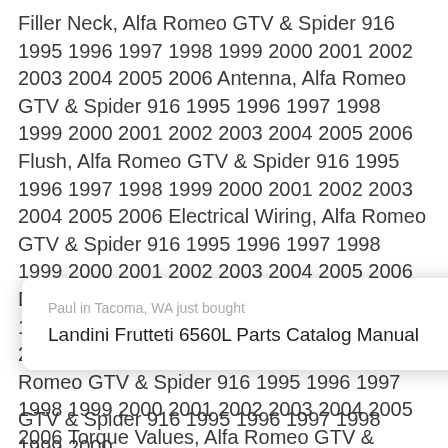Filler Neck, Alfa Romeo GTV & Spider 916 1995 1996 1997 1998 1999 2000 2001 2002 2003 2004 2005 2006 Antenna, Alfa Romeo GTV & Spider 916 1995 1996 1997 1998 1999 2000 2001 2002 2003 2004 2005 2006 Flush, Alfa Romeo GTV & Spider 916 1995 1996 1997 1998 1999 2000 2001 2002 2003 2004 2005 2006 Electrical Wiring, Alfa Romeo GTV & Spider 916 1995 1996 1997 1998 1999 2000 2001 2002 2003 2004 2005 2006 Diagrams, Alfa Romeo GTV & Spider 916 1995 1996 1997 1998 1999 2000 2001 2002 2003 2004 2005 2006 Torque Specs, Alfa Romeo GTV & Spider 916 1995 1996 1997 1998 1999 2000 2001 2002 2003 2004 2005 2006 Torque Values, Alfa Romeo GTV & Spider 916 1995 1996 1997 1998 1999 2000 2001 2002 2003 2004 2005 2006 Alfa Romeo GTV & Spider 916 1995 1996 1997 1998 1999 2000 2001 Alfa Romeo GTV & Spider 916 1995 1996 1997 1998 1999 2000
[Figure (other): Popup notification showing: 'Paul in Tacoma, WA just bought' and 'Landini Frutteti 6560L Parts Catalog Manual']